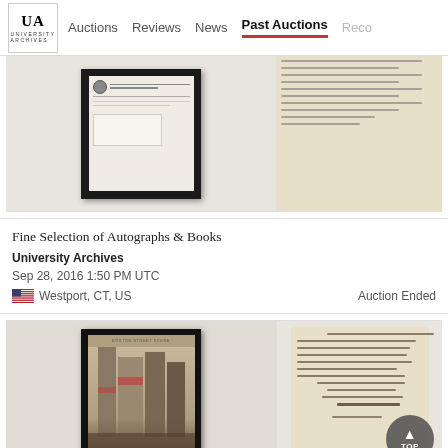UA University Archives | Auctions | Reviews | News | Past Auctions | Reco...
[Figure (photo): Framed historical document with seal and text, partially visible at top]
[Figure (photo): Handwritten letter page, cursive text on aged paper]
Fine Selection of Autographs & Books
University Archives
Sep 28, 2016 1:50 PM UTC
Westport, CT, US
Auction Ended
[Figure (photo): Framed vintage street scene photograph showing a busy city street with buildings and crowd]
[Figure (photo): Handwritten letter on aged paper with cursive writing and signature]